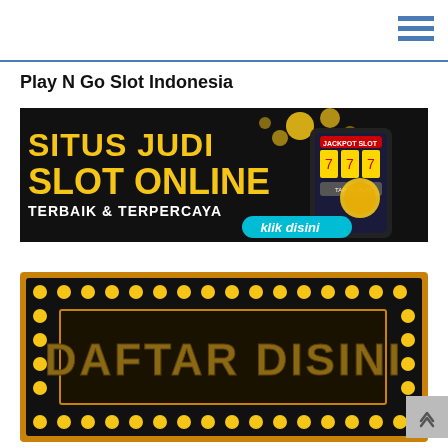Play N Go Slot Indonesia
[Figure (illustration): Online slot gambling advertisement banner with dark background, showing 'SITUS JUDI SLOT ONLINE' in large gold letters, 'TERBAIK & TERPERCAYA' in white, a smartphone showing a jackpot slot game, gold coins, and a 'klik disini' button in cyan.]
[Figure (illustration): Dark marquee-style banner with gold/yellow light bulb border dots, inner dark rectangle with gold embossed text reading 'DAFTAR DISINI'.]